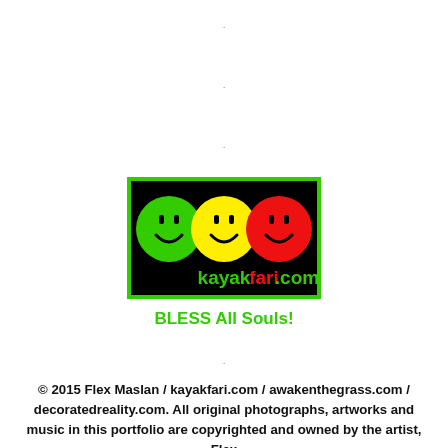.
.
.
[Figure (logo): kayakfari.com logo: black background with green border, three smiley faces in green, yellow, and red colors, with text 'kayakfari.com' in red/green below]
BLESS All Souls!
.
.
© 2015 Flex Maslan / kayakfari.com / awakenthegrass.com / decoratedreality.com. All original photographs, artworks and music in this portfolio are copyrighted and owned by the artist, Flex